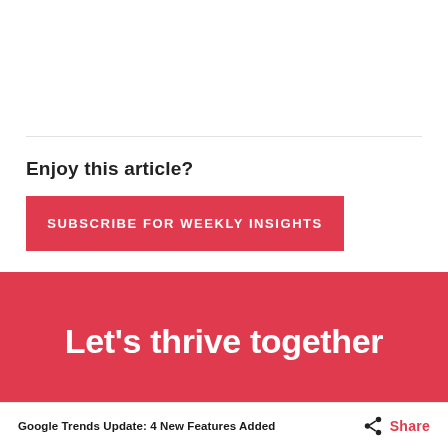Enjoy this article?
SUBSCRIBE FOR WEEKLY INSIGHTS
Let's thrive together
Google Trends Update: 4 New Features Added  Share